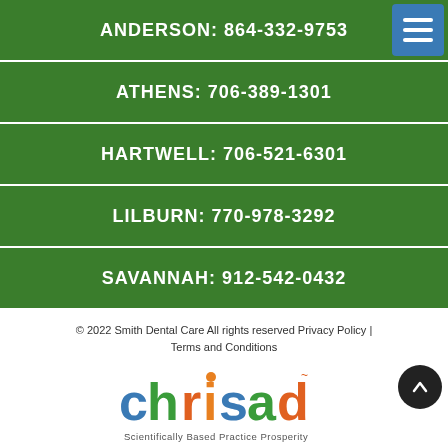ANDERSON: 864-332-9753
ATHENS: 706-389-1301
HARTWELL: 706-521-6301
LILBURN: 770-978-3292
SAVANNAH: 912-542-0432
© 2022 Smith Dental Care All rights reserved Privacy Policy | Terms and Conditions
[Figure (logo): Chrisad logo with colorful letters and tagline 'Scientifically Based Practice Prosperity']